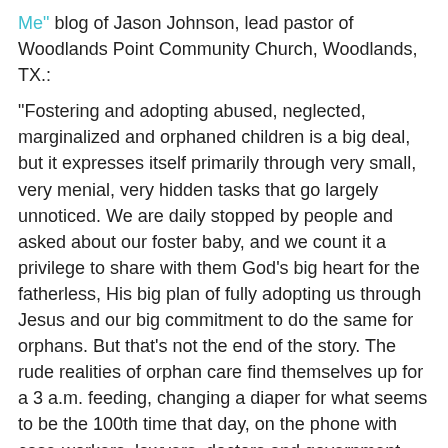Me" blog of Jason Johnson, lead pastor of Woodlands Point Community Church, Woodlands, TX.:
"Fostering and adopting abused, neglected, marginalized and orphaned children is a big deal, but it expresses itself primarily through very small, very menial, very hidden tasks that go largely unnoticed. We are daily stopped by people and asked about our foster baby, and we count it a privilege to share with them God's big heart for the fatherless, His big plan of fully adopting us through Jesus and our big commitment to do the same for orphans. But that's not the end of the story. The rude realities of orphan care find themselves up for a 3 a.m. feeding, changing a diaper for what seems to be the 100th time that day, on the phone with case-workers, lawyers, doctors and government departmental offices, filling out stacks of paperwork, sitting through court hearings and driving across the city for parent visits.
"Yes, orphan care is a big deal, but its grandness is not measured by the public fame it produces but by the private faithfulness it requires…when no one is around to see, and no one cares. The only way we will make a big difference in